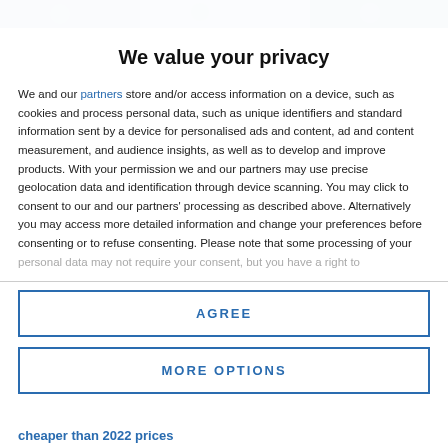[Figure (photo): Partial view of background image showing people, partially obscured by modal overlay]
We value your privacy
We and our partners store and/or access information on a device, such as cookies and process personal data, such as unique identifiers and standard information sent by a device for personalised ads and content, ad and content measurement, and audience insights, as well as to develop and improve products. With your permission we and our partners may use precise geolocation data and identification through device scanning. You may click to consent to our and our partners' processing as described above. Alternatively you may access more detailed information and change your preferences before consenting or to refuse consenting. Please note that some processing of your personal data may not require your consent, but you have a right to
AGREE
MORE OPTIONS
cheaper than 2022 prices